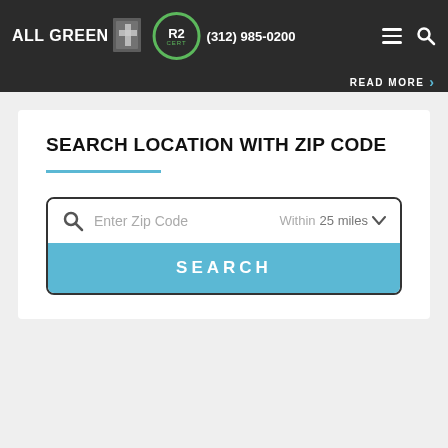ALL GREEN | R2 CERT | (312) 985-0200
READ MORE
SEARCH LOCATION WITH ZIP CODE
[Figure (screenshot): Search form with zip code input field showing 'Enter Zip Code' placeholder, 'Within 25 miles' dropdown, and a SEARCH button in blue]
[Figure (illustration): Facebook Messenger chat bubble icon in light blue circle at bottom right]